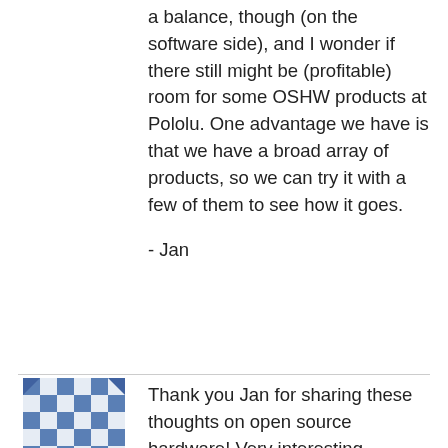a balance, though (on the software side), and I wonder if there still might be (profitable) room for some OSHW products at Pololu. One advantage we have is that we have a broad array of products, so we can try it with a few of them to see how it goes.
- Jan
[Figure (illustration): Avatar image for user Andreu — a blue pixel/checker pattern icon]
Andreu
2 Jul 2020
Thank you Jan for sharing these thoughts on open source hardware! Very interesting discussion.
I am not an expert in electronics; this is just a hobby for me. But being an amateur never stopped anybody from sharing his thoughts online...
First, I definitely accept to pay more for